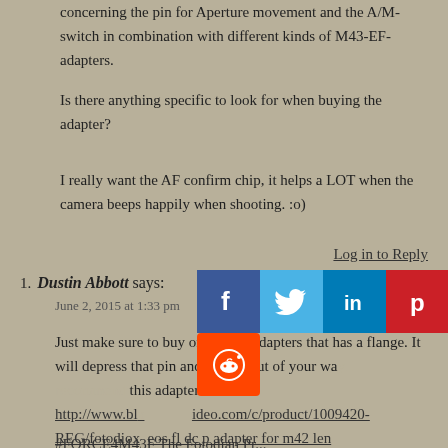concerning the pin for Aperture movement and the A/M-switch in combination with different kinds of M43-EF-adapters.
Is there anything specific to look for when buying the adapter?
I really want the AF confirm chip, it helps a LOT when the camera beeps happily when shooting. :o)
Log in to Reply
Dustin Abbott says:
June 2, 2015 at 1:33 pm
Just make sure to buy one of the adapters that has a flange. It will depress that pin and keep it out of your wa... this adapter: http://www.bl...ideo.com/c/product/1009420-REG/fotodiox...eos fl dc p adapter for m42 len... ...t1 #FORCE4M43F The Fotodian Pr...